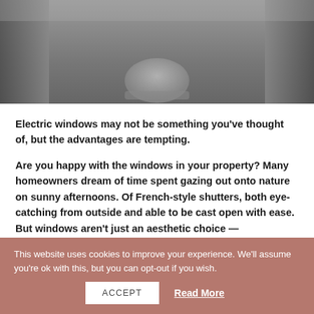[Figure (photo): Dark toned hero image of an interior room with curtains visible on left and right sides and a rounded object in the center bottom, rendered in grayscale tones.]
Electric windows may not be something you've thought of, but the advantages are tempting.
Are you happy with the windows in your property? Many homeowners dream of time spent gazing out onto nature on sunny afternoons. Of French-style shutters, both eye-catching from outside and able to be cast open with ease. But windows aren't just an aesthetic choice —
This website uses cookies to improve your experience. We'll assume you're ok with this, but you can opt-out if you wish.
ACCEPT
Read More